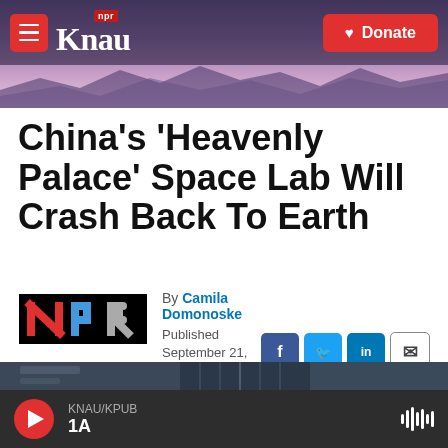KNAU NPR — Donate
China's 'Heavenly Palace' Space Lab Will Crash Back To Earth
By Camila Domonoske
Published September 21, 2016 at 1:16 PM MST
[Figure (photo): Bottom portion of a news article image showing a building exterior at night]
KNAU/KPUB 1A